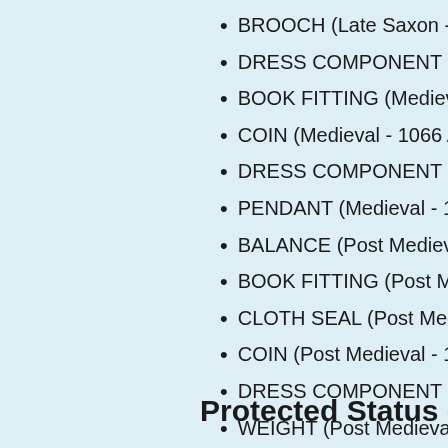BROOCH (Late Saxon - 851 A…
DRESS COMPONENT (Late S…
BOOK FITTING (Medieval - 10…
COIN (Medieval - 1066 AD to 1…
DRESS COMPONENT (Medie…
PENDANT (Medieval - 1066 A…
BALANCE (Post Medieval - 15…
BOOK FITTING (Post Medieva…
CLOTH SEAL (Post Medieval -…
COIN (Post Medieval - 1540 A…
DRESS COMPONENT (Post M…
WEIGHT (Post Medieval - 154…
WEIGHT (Post Medieval - 154…
Protected Status - non…